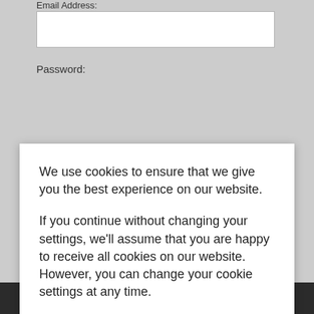Email Address:
Password:
We use cookies to ensure that we give you the best experience on our website.
If you continue without changing your settings, we'll assume that you are happy to receive all cookies on our website. However, you can change your cookie settings at any time.
Accept Cookies Policy